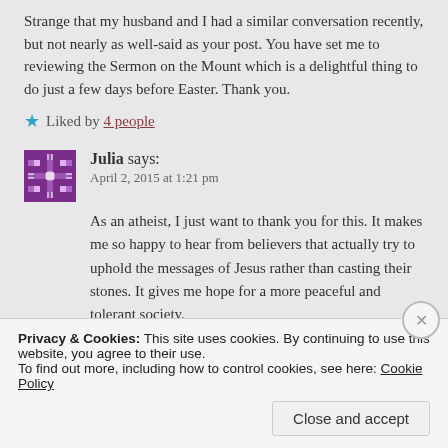Strange that my husband and I had a similar conversation recently, but not nearly as well-said as your post. You have set me to reviewing the Sermon on the Mount which is a delightful thing to do just a few days before Easter. Thank you.
Liked by 4 people
Julia says: April 2, 2015 at 1:21 pm
As an atheist, I just want to thank you for this. It makes me so happy to hear from believers that actually try to uphold the messages of Jesus rather than casting their stones. It gives me hope for a more peaceful and tolerant society.
Privacy & Cookies: This site uses cookies. By continuing to use this website, you agree to their use.
To find out more, including how to control cookies, see here: Cookie Policy
Close and accept